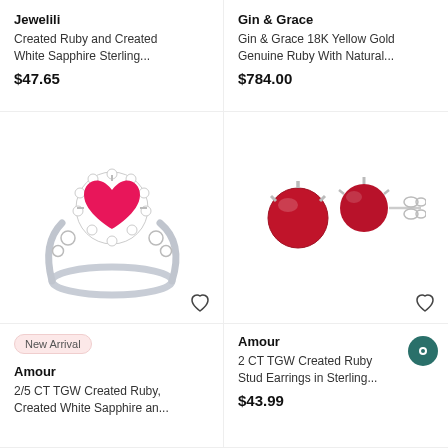Jewelili
Created Ruby and Created White Sapphire Sterling...
$47.65
Gin & Grace
Gin & Grace 18K Yellow Gold Genuine Ruby With Natural...
$784.00
[Figure (photo): Silver ring with heart-shaped pink ruby center stone surrounded by white diamond halo]
[Figure (photo): Two ruby stud earrings in silver prong settings with butterfly backs]
New Arrival
Amour
2/5 CT TGW Created Ruby, Created White Sapphire an...
Amour
2 CT TGW Created Ruby Stud Earrings in Sterling...
$43.99